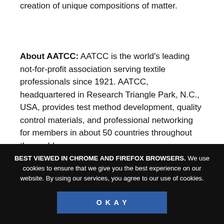creation of unique compositions of matter.
About AATCC: AATCC is the world's leading not-for-profit association serving textile professionals since 1921. AATCC, headquartered in Research Triangle Park, N.C., USA, provides test method development, quality control materials, and professional networking for members in about 50 countries throughout the world.
BEST VIEWED IN CHROME AND FIREFOX BROWSERS. We use cookies to ensure that we give you the best experience on our website. By using our services, you agree to our use of cookies.
OKAY